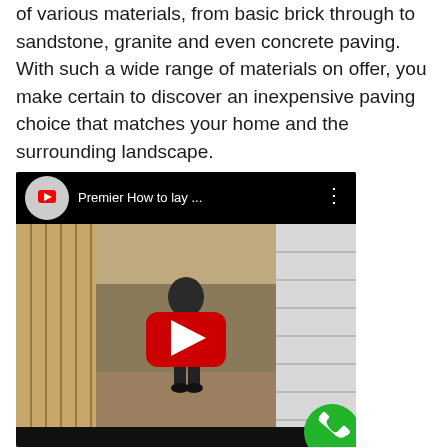of various materials, from basic brick through to sandstone, granite and even concrete paving. With such a wide range of materials on offer, you make certain to discover an inexpensive paving choice that matches your home and the surrounding landscape.
[Figure (screenshot): YouTube video embed showing a worker in a narrow construction corridor between wooden fencing and white block wall, with YouTube play button overlay and title 'Premier How to lay ...' in the header bar]